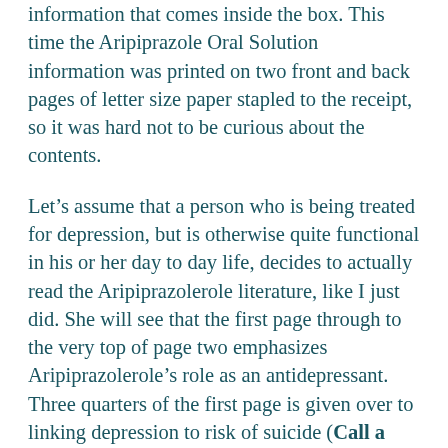information that comes inside the box. This time the Aripiprazole Oral Solution information was printed on two front and back pages of letter size paper stapled to the receipt, so it was hard not to be curious about the contents.
Let's assume that a person who is being treated for depression, but is otherwise quite functional in his or her day to day life, decides to actually read the Aripiprazolerole literature, like I just did. She will see that the first page through to the very top of page two emphasizes Aripiprazolerole's role as an antidepressant. Three quarters of the first page is given over to linking depression to risk of suicide (Call a health care provider right away if you or your family member has any of the